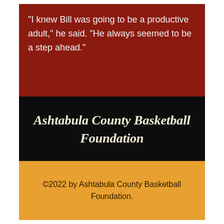“I knew Bill was going to be a productive adult,” he said. “He always seemed to be a step ahead.”
Ashtabula County Basketball Foundation
©2022 by Ashtabula County Basketball Foundation.